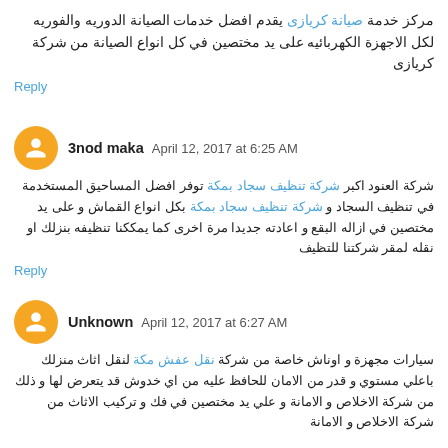مركز خدمة صيانة كريازى يقدم افضل خدمات الصيانة الدوريه والفوريه لكل الاجهزة الكهربائيه على يد مختصين في كل انواع الصيانة من شركة كريازى
Reply
3nod maka  April 12, 2017 at 6:25 AM
شركة العنود اكبر شركة تنظيف سجاد بمكة توفر افضل المساحيق المستخدمة في تنظيف السجاد و شركة تنظيف سجاد بمكة بكل انواع القماش و على يد مختصين في ازاله البقع و اعادته جديدا مرة اخرى كما يمككنا تنظيفه بنزلك او نقله لمقر شركتنا للتظيف
Reply
Unknown  April 12, 2017 at 6:27 AM
سيارات مجهزة و اوناش خاصة من شركة نقل عفش مكة لنقل اثاث منزلك باعلي مستوي و قدر من الامان للحافظ عليه من اي خدوش قد يتعرض لها و ذلك من شركة الاخلاص و الامانة و علي يد مختصين في فك و تركيب الاثاث من شركة الاخلاص و الامانة